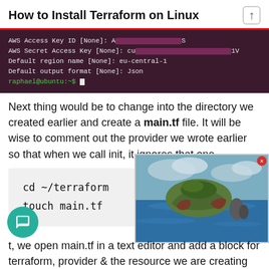How to Install Terraform on Linux
[Figure (screenshot): Terminal window showing AWS CLI configuration prompts with redacted Access Key ID and Secret Access Key, region set to eu-central-1, output format set to Json, and a bash prompt raphael@ubuntu:~$]
Next thing would be to change into the directory we created earlier and create a main.tf file. It will be wise to comment out the provider we wrote earlier so that when we call init, it ignores that one.
[Figure (photo): Aerial photo of a rocky island surrounded by ocean water with cloudy sky]
cd ~/terraform
touch main.tf
t, we open main.tf in a text editor and add a block for terraform, provider & the resource we are creating